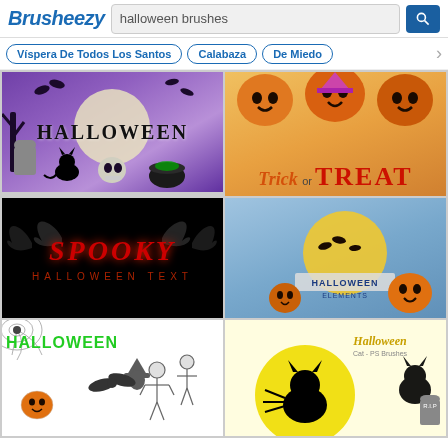Brusheezy — halloween brushes
Víspera De Todos Los Santos
Calabaza
De Miedo
[Figure (screenshot): Halloween scene with purple background, bats, moon, black cat, skull, cauldron, and 'HALLOWEEN' text]
[Figure (screenshot): Trick or Treat illustration with smiling jack-o-lanterns on orange background]
[Figure (screenshot): Spooky Halloween Text graphic with red stylized letters on black background]
[Figure (screenshot): Halloween Elements illustration with moon, bats, pumpkins, and HALLOWEEN ribbon on blue background]
[Figure (screenshot): Halloween brushes illustration in black and white with skeletons, bats, witch, spider web]
[Figure (screenshot): Halloween Cat PS brushes with black cat silhouette on yellow/white background]